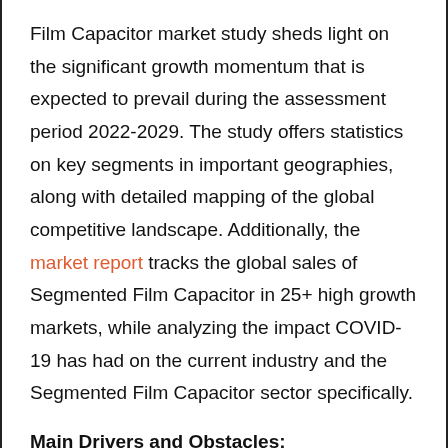Film Capacitor market study sheds light on the significant growth momentum that is expected to prevail during the assessment period 2022-2029. The study offers statistics on key segments in important geographies, along with detailed mapping of the global competitive landscape. Additionally, the market report tracks the global sales of Segmented Film Capacitor in 25+ high growth markets, while analyzing the impact COVID-19 has had on the current industry and the Segmented Film Capacitor sector specifically.
Main Drivers and Obstacles: